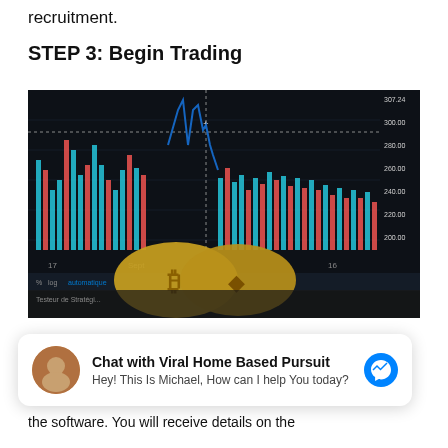recruitment.
STEP 3: Begin Trading
[Figure (photo): Photo of two gold cryptocurrency coins (Bitcoin and Ethereum) in front of a dark trading chart interface showing candlestick/bar chart with colored bars and price levels.]
Chat with Viral Home Based Pursuit
Hey! This Is Michael, How can I help You today?
completed, you can begin trading Bitcoin with the software. You will receive details on the